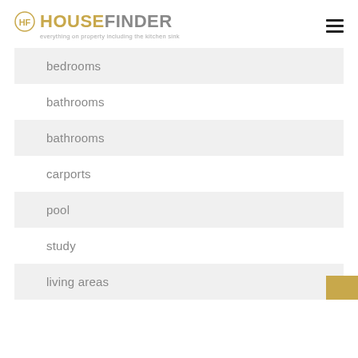HOUSEFINDER — everything on property including the kitchen sink
bedrooms
bathrooms
bathrooms
carports
pool
study
living areas